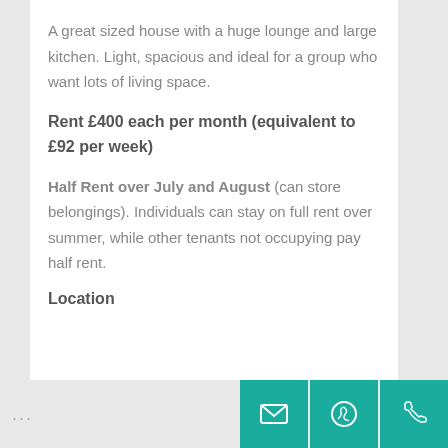A great sized house with a huge lounge and large kitchen. Light, spacious and ideal for a group who want lots of living space.
Rent £400 each per month (equivalent to £92 per week)
Half Rent over July and August (can store belongings). Individuals can stay on full rent over summer, while other tenants not occupying pay half rent.
Location
...